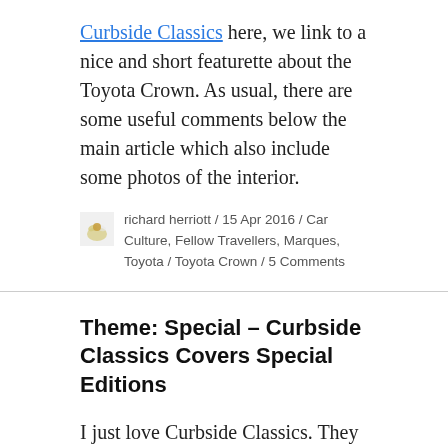Curbside Classics here, we link to a nice and short featurette about the Toyota Crown. As usual, there are some useful comments below the main article which also include some photos of the interior.
richard herriott / 15 Apr 2016 / Car Culture, Fellow Travellers, Marques, Toyota / Toyota Crown / 5 Comments
Theme: Special – Curbside Classics Covers Special Editions
I just love Curbside Classics. They produce fascinating nuggets of US automotive history